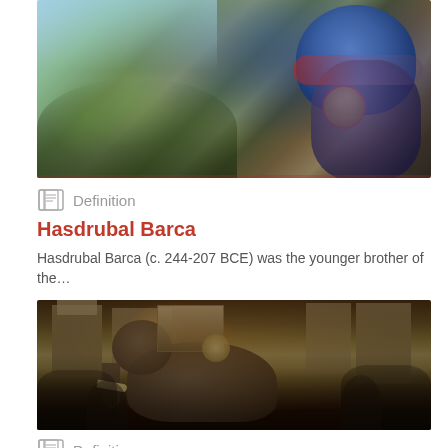[Figure (illustration): Artistic digital illustration showing a warrior in armor with a blue cloak and gold medallion, set against a background of trees and sky — appears to be a Roman or Carthaginian historical figure]
Definition
Hasdrubal Barca
Hasdrubal Barca (c. 244-207 BCE) was the younger brother of the…
[Figure (illustration): Dark fantasy/historical digital artwork showing a war elephant with a tower/howdah on its back, surrounded by soldiers in armor, with burning buildings in the background — depicting an ancient battle scene]
Definition